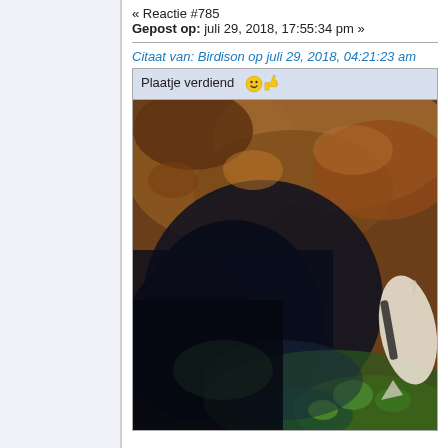« Reactie #785
Gepost op: juli 29, 2018, 17:55:34 pm »
Citaat van: Birdison op juli 29, 2018, 04:21:23 am
Plaatje verdiend 😊👍
[Figure (photo): Underwater photograph showing a fish near a rocky reef bottom with brownish rocks, dark water, and colorful coral or algae at the bottom. The fish appears to be a tropical reef fish with white and black coloring visible at the right edge of the frame.]